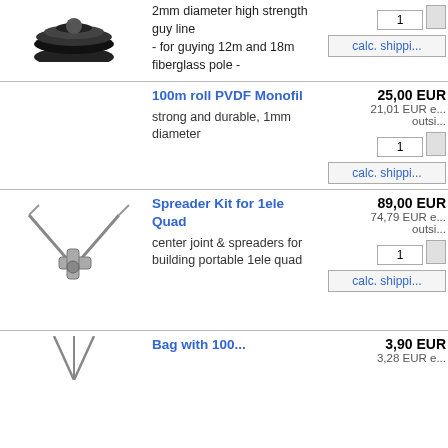[Figure (photo): Black circular cable reel or spool, partially visible at top]
2mm diameter high strength guy line - for guying 12m and 18m fiberglass pole -
calc. shippi...
100m roll PVDF Monofil
25,00 EUR
21,01 EUR e... outsi...
strong and durable, 1mm diameter
calc. shippi...
[Figure (photo): Spreader kit parts: thin spreader rods and a metal center joint/hub for 1 element quad antenna]
Spreader Kit for 1ele Quad
89,00 EUR
74,79 EUR e... outsi...
center joint & spreaders for building portable 1ele quad
calc. shippi...
Bag with 100...
3,90 EUR